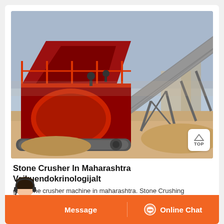[Figure (photo): Stone crushing machine / conveyor belt setup at a mining/quarrying site in Maharashtra. Large red industrial crusher with elevated conveyor belt on sandy ground under clear sky.]
Stone Crusher In Maharashtra Vaikuendokrinologijalt
gitti stone crusher machine in maharashtra. Stone Crushing Machine. Gitti Stone Crusher Machine In Maharashtra Create Mobil...